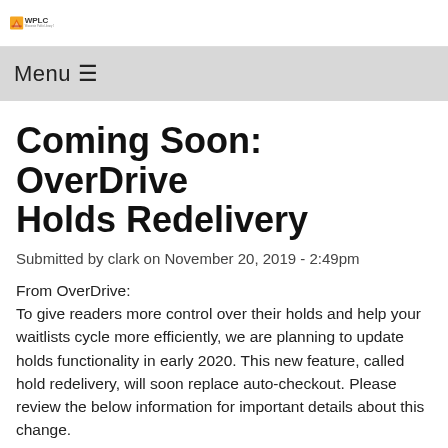WPLC Wisconsin Public Library Consortium
Menu ≡
Coming Soon: OverDrive Holds Redelivery
Submitted by clark on November 20, 2019 - 2:49pm
From OverDrive:
To give readers more control over their holds and help your waitlists cycle more efficiently, we are planning to update holds functionality in early 2020. This new feature, called hold redelivery, will soon replace auto-checkout. Please review the below information for important details about this change.